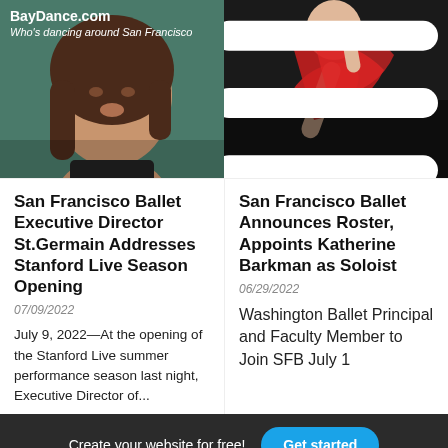[Figure (photo): Woman with dark hair wearing black top, green/teal background. BayDance.com header with subtitle 'Who's dancing around San Francisco']
[Figure (photo): Dancer in red costume against dark background, hamburger menu icon in top right]
San Francisco Ballet Executive Director St.Germain Addresses Stanford Live Season Opening
07/09/2022
July 9, 2022—At the opening of the Stanford Live summer performance season last night, Executive Director of...
San Francisco Ballet Announces Roster, Appoints Katherine Barkman as Soloist
06/29/2022
Washington Ballet Principal and Faculty Member to Join SFB July 1
Create your website for free!  Get started